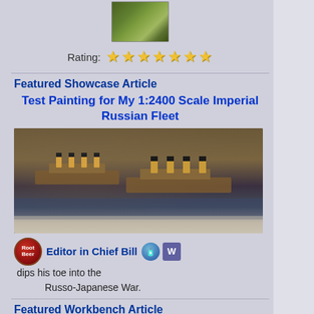[Figure (photo): Small thumbnail photo of a landscape/crowd scene viewed from above]
Rating: ★★★★★★★
Featured Showcase Article
Test Painting for My 1:2400 Scale Imperial Russian Fleet
[Figure (photo): Photo of 1:2400 scale model ships of the Imperial Russian Fleet painted in brown/rust colors with yellow funnels, arranged on a dark blue base]
Editor in Chief Bill dips his toe into the Russo-Japanese War.
Featured Workbench Article
CombatPainter Makes a Barbed Wire Section